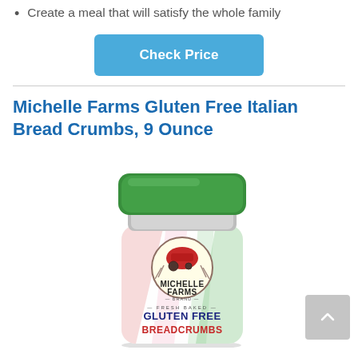Create a meal that will satisfy the whole family
Check Price
Michelle Farms Gluten Free Italian Bread Crumbs, 9 Ounce
[Figure (photo): Photo of Michelle Farms Gluten Free Italian Bread Crumbs container with green lid, white and striped label showing MICHELLE FARMS BRAND FRESH BAKED GLUTEN FREE BREADCRUMBS text and a red tractor logo]